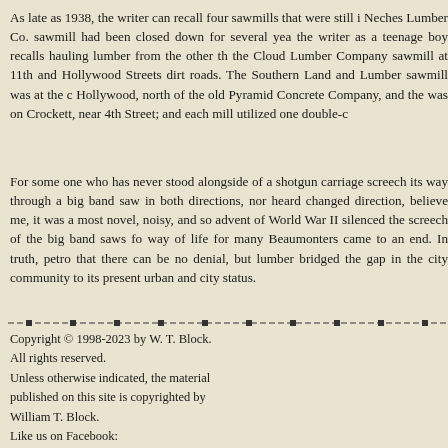As late as 1938, the writer can recall four sawmills that were still in operation. The Neches Lumber Co. sawmill had been closed down for several years by then, but the writer as a teenage boy recalls hauling lumber from the other three sawmills, the Cloud Lumber Company sawmill at 11th and Hollywood Streets, when they were dirt roads. The Southern Land and Lumber sawmill was at the corner of 11th and Hollywood, north of the old Pyramid Concrete Company, and the Nona Mills sawmill was on Crockett, near 4th Street; and each mill utilized one double-cutting band saw.
For some one who has never stood alongside of a shotgun carriage and heard it screech its way through a big band saw in both directions, nor heard the big saw changed direction, believe me, it was a most novel, noisy, and sobering sound. The advent of World War II silenced the screech of the big band saws forever, and a way of life for many Beaumonters came to an end. In truth, petroleum had done that there can be no denial, but lumber bridged the gap in the city's growth from community to its present urban and city status.
Copyright © 1998-2023 by W. T. Block. All rights reserved. Unless otherwise indicated, the material published on this site is copyrighted by William T. Block. Like us on Facebook: http://www.facebook.com/WTBlock